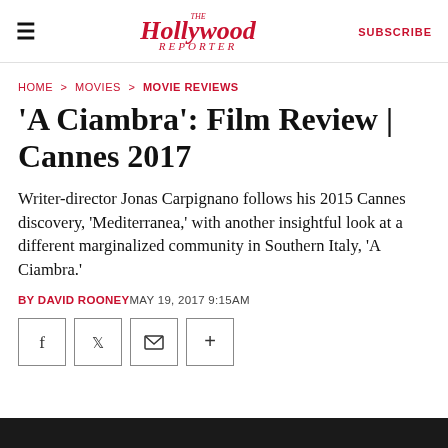The Hollywood Reporter — SUBSCRIBE
HOME > MOVIES > MOVIE REVIEWS
'A Ciambra': Film Review | Cannes 2017
Writer-director Jonas Carpignano follows his 2015 Cannes discovery, 'Mediterranea,' with another insightful look at a different marginalized community in Southern Italy, 'A Ciambra.'
BY DAVID ROONEY MAY 19, 2017 9:15AM
[Figure (other): Social sharing buttons: Facebook, Twitter, Email, Plus]
[Figure (photo): Bottom image strip — partial photo visible at bottom of page]